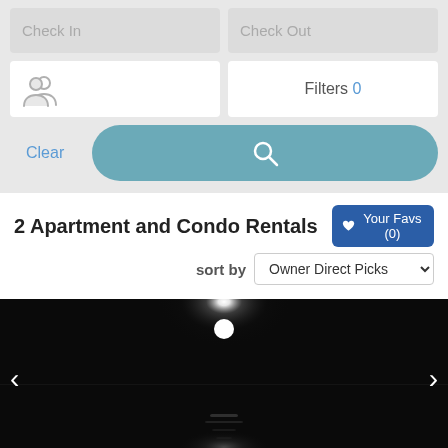[Figure (screenshot): Search panel with Check In, Check Out, guests, Filters fields, Clear button, and search magnifier button on light gray background]
2 Apartment and Condo Rentals
Your Favs (0)
sort by Owner Direct Picks
[Figure (photo): Black and white nighttime photo of a moonlit water scene with moon reflection]